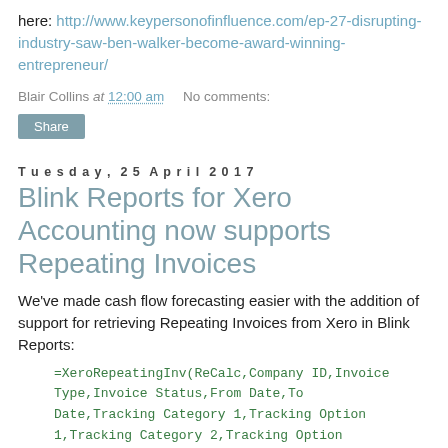here: http://www.keypersonofinfluence.com/ep-27-disrupting-industry-saw-ben-walker-become-award-winning-entrepreneur/
Blair Collins at 12:00 am   No comments:
Share
Tuesday, 25 April 2017
Blink Reports for Xero Accounting now supports Repeating Invoices
We've made cash flow forecasting easier with the addition of support for retrieving Repeating Invoices from Xero in Blink Reports: